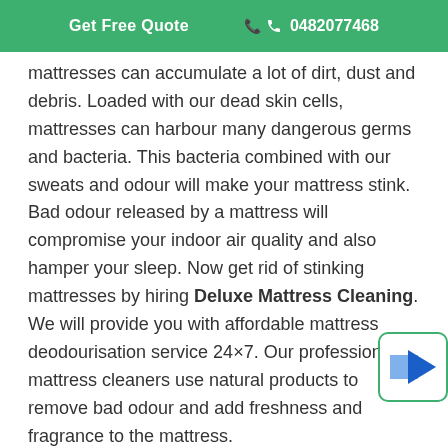Get Free Quote  📞 0482077468
mattresses can accumulate a lot of dirt, dust and debris. Loaded with our dead skin cells, mattresses can harbour many dangerous germs and bacteria. This bacteria combined with our sweats and odour will make your mattress stink. Bad odour released by a mattress will compromise your indoor air quality and also hamper your sleep. Now get rid of stinking mattresses by hiring Deluxe Mattress Cleaning. We will provide you with affordable mattress deodourisation service 24×7. Our professional mattress cleaners use natural products to remove bad odour and add freshness and fragrance to the mattress.
Same Day Mattress Cleaning.
At Deluxe Mattress Cleaning you can have the benefit of same day mattress cleaning, we try to